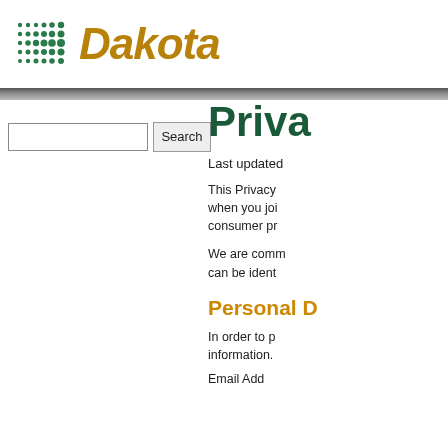[Figure (logo): Dakota logo with teal dot grid pattern and italic bold orange-brown 'Dakota' text]
Search [input field] Search [button]
Priva…
Last updated…
This Privacy… when you joi… consumer pr…
We are comm… can be ident…
Personal D…
In order to p… information.
Email Add…